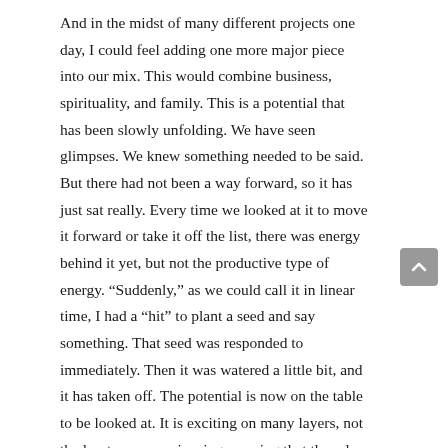And in the midst of many different projects one day, I could feel adding one more major piece into our mix. This would combine business, spirituality, and family. This is a potential that has been slowly unfolding. We have seen glimpses. We knew something needed to be said. But there had not been a way forward, so it has just sat really. Every time we looked at it to move it forward or take it off the list, there was energy behind it yet, but not the productive type of energy. “Suddenly,” as we could call it in linear time, I had a “hit” to plant a seed and say something. That seed was responded to immediately. Then it was watered a little bit, and it has taken off. The potential is now on the table to be looked at. It is exciting on many layers, not the least was experiencing weaving that thread into all the other threads we are working on … before it was tangibly physically available to work with. I